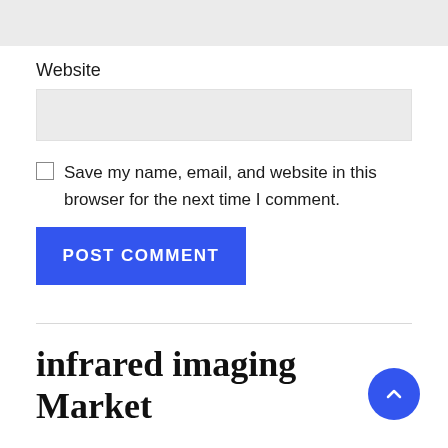Website
Save my name, email, and website in this browser for the next time I comment.
POST COMMENT
infrared imaging Market